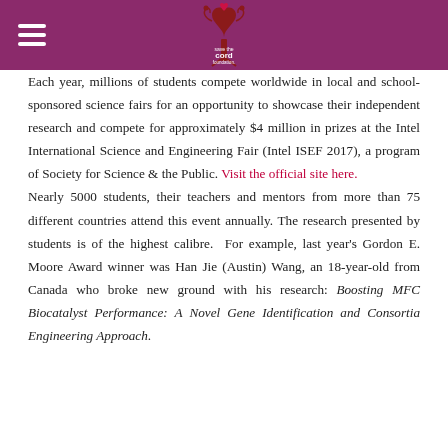[Figure (logo): Save the Cord Foundation logo with decorative tree and heart, on a purple/magenta banner with hamburger menu icon on the left]
Each year, millions of students compete worldwide in local and school-sponsored science fairs for an opportunity to showcase their independent research and compete for approximately $4 million in prizes at the Intel International Science and Engineering Fair (Intel ISEF 2017), a program of Society for Science & the Public. Visit the official site here. Nearly 5000 students, their teachers and mentors from more than 75 different countries attend this event annually. The research presented by students is of the highest calibre. For example, last year's Gordon E. Moore Award winner was Han Jie (Austin) Wang, an 18-year-old from Canada who broke new ground with his research: Boosting MFC Biocatalyst Performance: A Novel Gene Identification and Consortia Engineering Approach.